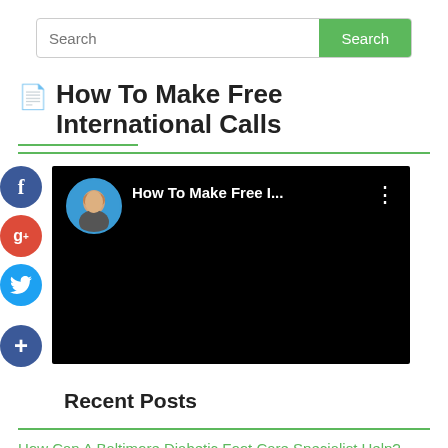Search
How To Make Free International Calls
[Figure (screenshot): YouTube-style video thumbnail showing a man's profile picture (avatar) on the left, and text 'How To Make Free I...' with a three-dot menu icon on the right, all on a black background.]
Recent Posts
How Can A Baltimore Diabetic Foot Care Specialist Help?